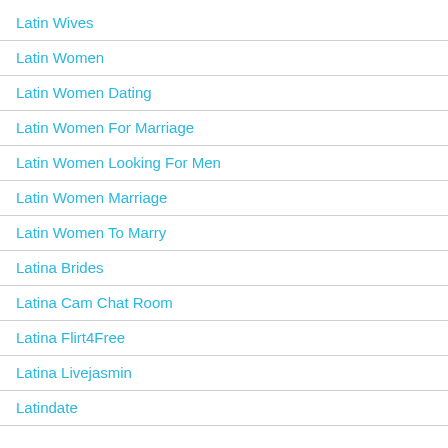Latin Wives
Latin Women
Latin Women Dating
Latin Women For Marriage
Latin Women Looking For Men
Latin Women Marriage
Latin Women To Marry
Latina Brides
Latina Cam Chat Room
Latina Flirt4Free
Latina Livejasmin
Latindate